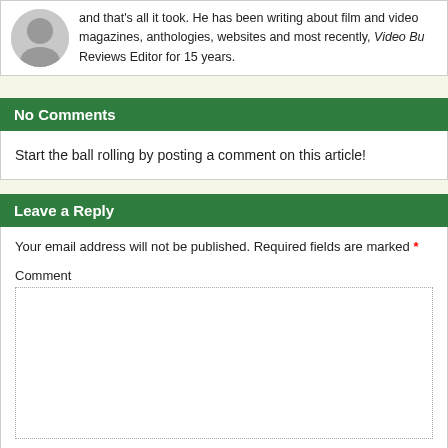and that's all it took. He has been writing about film and video magazines, anthologies, websites and most recently, Video Bu Reviews Editor for 15 years.
No Comments
Start the ball rolling by posting a comment on this article!
Leave a Reply
Your email address will not be published. Required fields are marked *
Comment
Name *